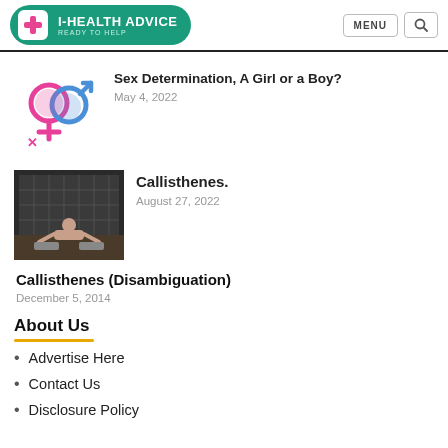I-HEALTH ADVICE — READY TO HELP
Sex Determination, A Girl or a Boy?
May 4, 2022
[Figure (photo): Person doing calisthenics exercise in a gym]
Callisthenes.
August 27, 2022
Callisthenes (Disambiguation)
December 5, 2014
About Us
Advertise Here
Contact Us
Disclosure Policy